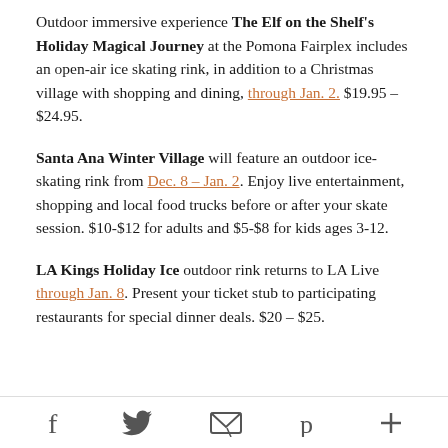Outdoor immersive experience The Elf on the Shelf's Holiday Magical Journey at the Pomona Fairplex includes an open-air ice skating rink, in addition to a Christmas village with shopping and dining, through Jan. 2. $19.95 – $24.95.
Santa Ana Winter Village will feature an outdoor ice-skating rink from Dec. 8 – Jan. 2. Enjoy live entertainment, shopping and local food trucks before or after your skate session. $10-$12 for adults and $5-$8 for kids ages 3-12.
LA Kings Holiday Ice outdoor rink returns to LA Live through Jan. 8. Present your ticket stub to participating restaurants for special dinner deals. $20 – $25.
Social share icons: Facebook, Twitter, Email, Pinterest, More